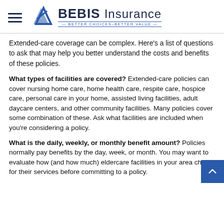BEBIS Insurance — BETTER CHOICES–BETTER VALUE
Extended-care coverage can be complex. Here's a list of questions to ask that may help you better understand the costs and benefits of these policies.
What types of facilities are covered? Extended-care policies can cover nursing home care, home health care, respite care, hospice care, personal care in your home, assisted living facilities, adult daycare centers, and other community facilities. Many policies cover some combination of these. Ask what facilities are included when you're considering a policy.
What is the daily, weekly, or monthly benefit amount? Policies normally pay benefits by the day, week, or month. You may want to evaluate how (and how much) eldercare facilities in your area charge for their services before committing to a policy.